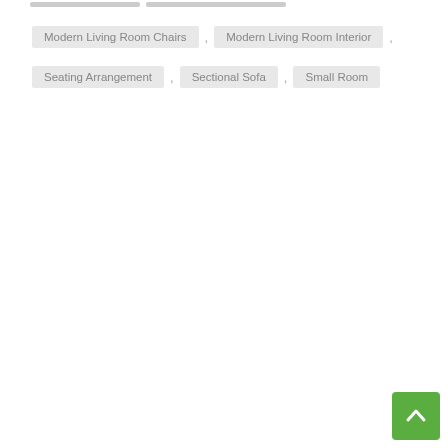Modern Living Room Chairs , Modern Living Room Interior ,
Seating Arrangement , Sectional Sofa , Small Room
[Figure (other): Green back-to-top button with upward arrow chevron, positioned in the bottom-right corner]